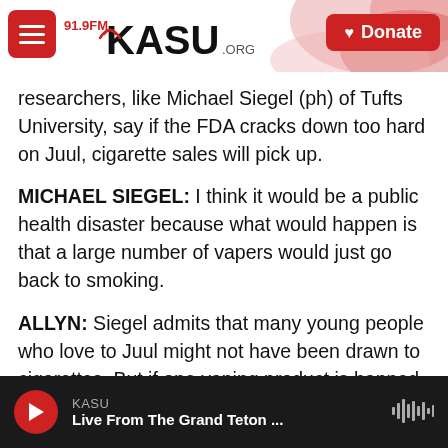91.9FM KASU.ORG — Donate
researchers, like Michael Siegel (ph) of Tufts University, say if the FDA cracks down too hard on Juul, cigarette sales will pick up.
MICHAEL SIEGEL: I think it would be a public health disaster because what would happen is that a large number of vapers would just go back to smoking.
ALLYN: Siegel admits that many young people who love to Juul might not have been drawn to cigarettes. But if one vaping product is banned, they will find another one. On balance, he says, Juul helping millions quit smoking outweighs the risk to
KASU — Live From The Grand Teton ...